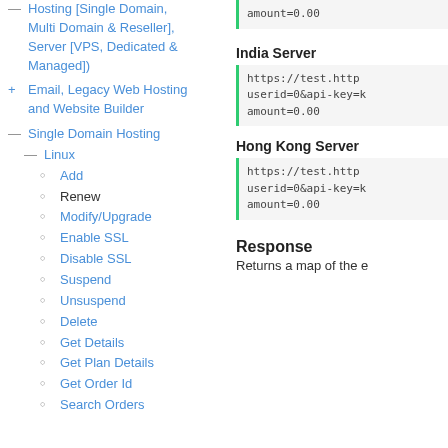Hosting [Single Domain, Multi Domain & Reseller], Server [VPS, Dedicated & Managed])
+ Email, Legacy Web Hosting and Website Builder
- Single Domain Hosting
- Linux
○ Add
○ Renew
○ Modify/Upgrade
○ Enable SSL
○ Disable SSL
○ Suspend
○ Unsuspend
○ Delete
○ Get Details
○ Get Plan Details
○ Get Order Id
○ Search Orders
amount=0.00
India Server
https://test.http userid=0&api-key=k amount=0.00
Hong Kong Server
https://test.http userid=0&api-key=k amount=0.00
Response
Returns a map of the e